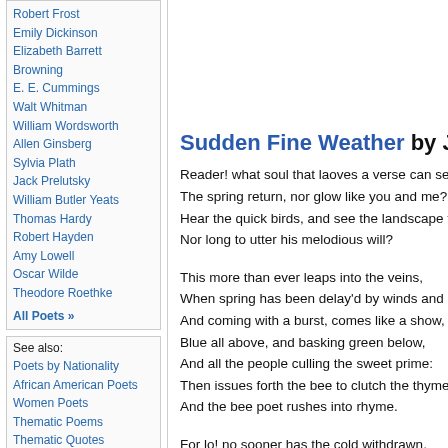Robert Frost
Emily Dickinson
Elizabeth Barrett Browning
E. E. Cummings
Walt Whitman
William Wordsworth
Allen Ginsberg
Sylvia Plath
Jack Prelutsky
William Butler Yeats
Thomas Hardy
Robert Hayden
Amy Lowell
Oscar Wilde
Theodore Roethke
All Poets »
See also:
Poets by Nationality
African American Poets
Women Poets
Thematic Poems
Thematic Quotes
Contemporary Poets
Nobel Prize Poets
American Poets
English Poets
Sudden Fine Weather by James Henry
Reader! what soul that laoves a verse can see
The spring return, nor glow like you and me?
Hear the quick birds, and see the landscape fi
Nor long to utter his melodious will?
This more than ever leaps into the veins,
When spring has been delay'd by winds and ra
And coming with a burst, comes like a show,
Blue all above, and basking green below,
And all the people culling the sweet prime:
Then issues forth the bee to clutch the thyme,
And the bee poet rushes into rhyme.
For lo! no sooner has the cold withdrawn,
Than the bright elm is tufted on the lawn;
The merry sap has run up in the bowers,
And bursts the windows of the buds in flowers
With song the bosoms of the birds run o'er